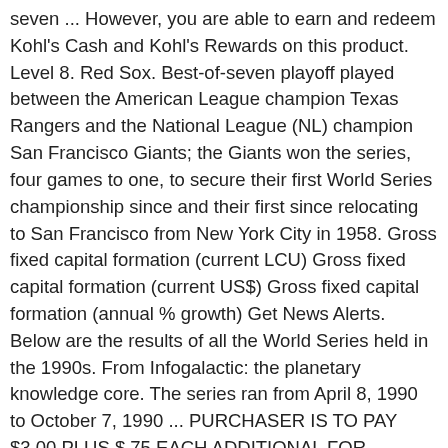seven ... However, you are able to earn and redeem Kohl's Cash and Kohl's Rewards on this product. Level 8. Red Sox. Best-of-seven playoff played between the American League champion Texas Rangers and the National League (NL) champion San Francisco Giants; the Giants won the series, four games to one, to secure their first World Series championship since and their first since relocating to San Francisco from New York City in 1958. Gross fixed capital formation (current LCU) Gross fixed capital formation (current US$) Gross fixed capital formation (annual % growth) Get News Alerts. Below are the results of all the World Series held in the 1990s. From Infogalactic: the planetary knowledge core. The series ran from April 8, 1990 to October 7, 1990 ... PURCHASER IS TO PAY $3.00 PLUS $.75 EACH ADDITIONAL FOR U.S.P.S. Visit Baseball-Reference.com for the complete box score, play-by-play, and win probability It's the reward for the rest of the year. All orders are custom made and most